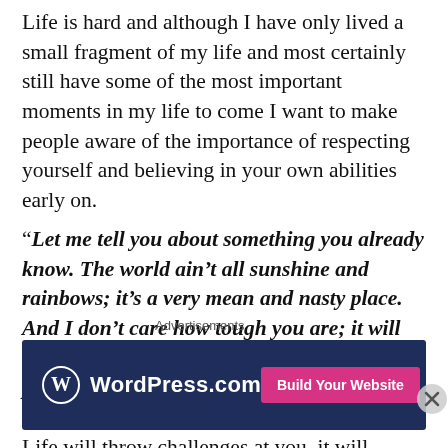Life is hard and although I have only lived a small fragment of my life and most certainly still have some of the most important moments in my life to come I want to make people aware of the importance of respecting yourself and believing in your own abilities early on.
“Let me tell you about something you already know. The world ain’t all sunshine and rainbows; it’s a very mean and nasty place. And I don’t care how tough you are; it will beat you to your knees and keep you there permanently if you let it…” I am positive you have all heard this very famous quote before. Life will throw challenges at you, it will knock you down, you will have failures and disappointments
Advertisements
[Figure (other): WordPress.com advertisement banner with dark navy background, WordPress logo on the left and 'Build Your Website' pink button on the right]